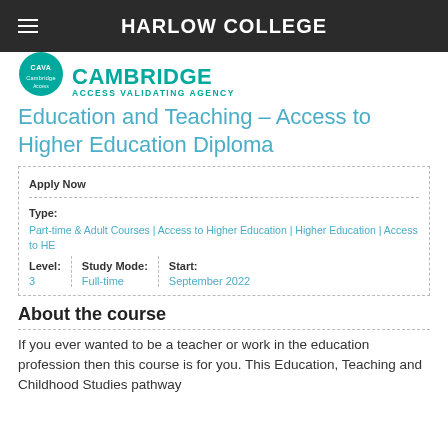HARLOW COLLEGE
[Figure (logo): Cambridge Access Validating Agency (CAVA) logo with teal circle and text]
Education and Teaching – Access to Higher Education Diploma
| Apply Now |  |  |
| --- | --- | --- |
| Type: |  |  |
| Part-time & Adult Courses | Access to Higher Education | Higher Education | Access to HE |  |  |
| Level: | Study Mode: | Start: |
| 3 | Full-time | September 2022 |
About the course
If you ever wanted to be a teacher or work in the education profession then this course is for you. This Education, Teaching and Childhood Studies pathway